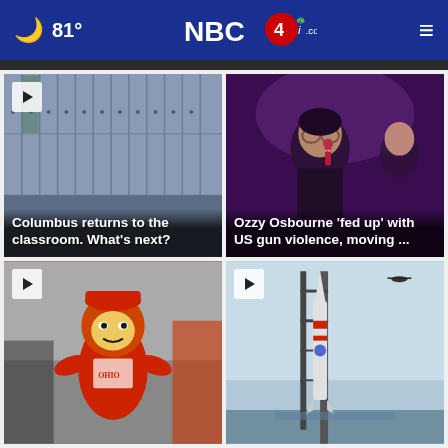🌙 81° NBC4i.com ☰
[Figure (photo): School lockers photo with play button overlay and headline: Columbus returns to the classroom. What's next?]
[Figure (photo): Ozzy Osbourne holding microphone at event, headline: Ozzy Osbourne 'fed up' with US gun violence, moving ...]
[Figure (photo): Ohio State Brutus Buckeye mascot with students, play button overlay]
[Figure (photo): Rocket on launch pad with helicopter in sky, play button overlay]